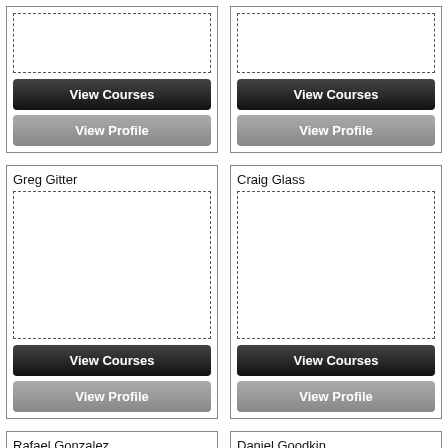[Figure (screenshot): Top-left profile card (partial, cropped), with dashed photo placeholder, View Courses button, View Profile button]
[Figure (screenshot): Top-right profile card (partial, cropped), with dashed photo placeholder, View Courses button, View Profile button]
Greg Gitter
[Figure (screenshot): Greg Gitter profile card with dashed photo placeholder, View Courses button, View Profile button]
Craig Glass
[Figure (screenshot): Craig Glass profile card with dashed photo placeholder, View Courses button, View Profile button]
Rafael Gonzalez
[Figure (screenshot): Rafael Gonzalez profile card (partial, cropped at bottom) with dashed photo placeholder]
Daniel Goodkin
[Figure (screenshot): Daniel Goodkin profile card (partial, cropped at bottom) with dashed photo placeholder]